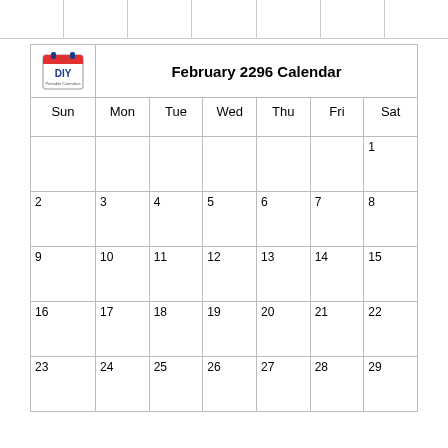| Sun | Mon | Tue | Wed | Thu | Fri | Sat |
| --- | --- | --- | --- | --- | --- | --- |
|  |  |  |  |  |  | 1 |
| 2 | 3 | 4 | 5 | 6 | 7 | 8 |
| 9 | 10 | 11 | 12 | 13 | 14 | 15 |
| 16 | 17 | 18 | 19 | 20 | 21 | 22 |
| 23 | 24 | 25 | 26 | 27 | 28 | 29 |